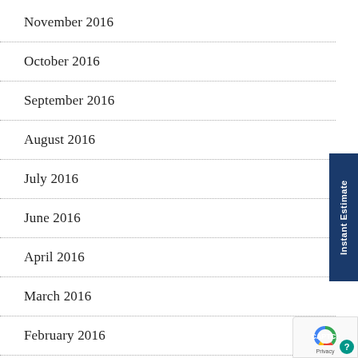November 2016
October 2016
September 2016
August 2016
July 2016
June 2016
April 2016
March 2016
February 2016
January 2016